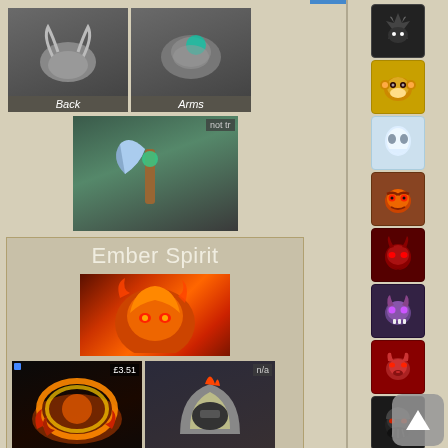[Figure (screenshot): Dota 2 item loadout screenshot showing multiple hero cosmetic items. Top row shows Back and Arms slots with grey item placeholders. A single weapon/axe item marked 'not tr' is shown below. Then the Ember Spirit hero section begins with a portrait and item grid showing Shoulder ($3.51), Head (n/a), Belt (n/a), Arms ($0.03), and two partial items at bottom (n/a, not tr). Right sidebar shows pixel-art hero face icons for multiple heroes, with a scroll-up button.]